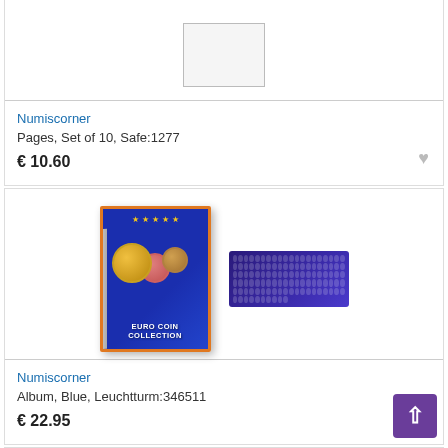[Figure (photo): Product image placeholder box for coin pages]
Numiscorner
Pages, Set of 10, Safe:1277
€ 10.60
[Figure (photo): Euro Coin Collection album in blue with orange spine and coin strip accessory]
Numiscorner
Album, Blue, Leuchtturm:346511
€ 22.95